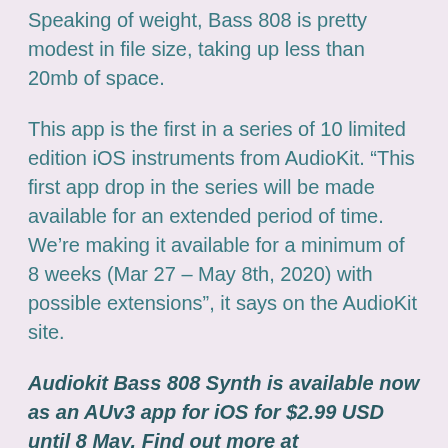Speaking of weight, Bass 808 is pretty modest in file size, taking up less than 20mb of space.
This app is the first in a series of 10 limited edition iOS instruments from AudioKit. “This first app drop in the series will be made available for an extended period of time. We’re making it available for a minimum of 8 weeks (Mar 27 – May 8th, 2020) with possible extensions”, it says on the AudioKit site.
Audiokit Bass 808 Synth is available now as an AUv3 app for iOS for $2.99 USD until 8 May. Find out more at audiokitpro.com